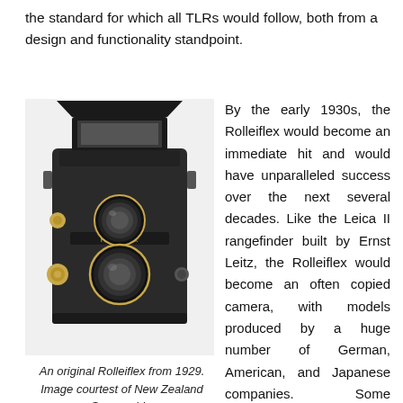the standard for which all TLRs would follow, both from a design and functionality standpoint.
[Figure (photo): An original Rolleiflex twin-lens reflex camera from 1929, black body with two lenses, viewfinder hood open at top, on white background.]
An original Rolleiflex from 1929. Image courtest of New Zealand Geographic.
By the early 1930s, the Rolleiflex would become an immediate hit and would have unparalleled success over the next several decades. Like the Leica II rangefinder built by Ernst Leitz, the Rolleiflex would become an often copied camera, with models produced by a huge number of German, American, and Japanese companies. Some Rolleiflex clones copied the design very closely, and others changed the formula a bit, but they all retained the